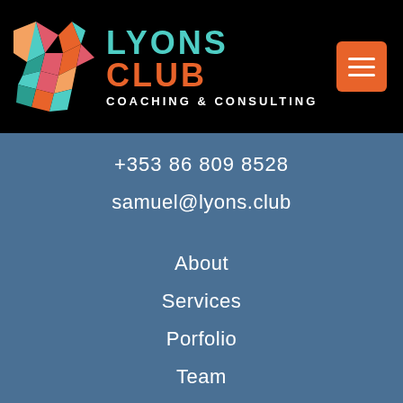[Figure (logo): Lyons Club Coaching & Consulting logo with colorful geometric lion head and brand text]
+353 86 809 8528
samuel@lyons.club
About
Services
Porfolio
Team
Appointment